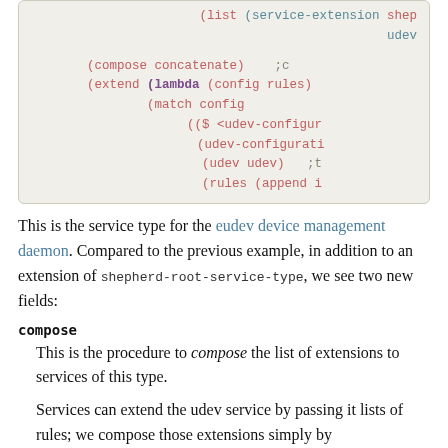[Figure (other): Code block showing Scheme/Guile code snippet with compose, extend, lambda, match, udev-configuration constructs]
This is the service type for the eudev device management daemon. Compared to the previous example, in addition to an extension of shepherd-root-service-type, we see two new fields:
compose
This is the procedure to compose the list of extensions to services of this type.
Services can extend the udev service by passing it lists of rules; we compose those extensions simply by